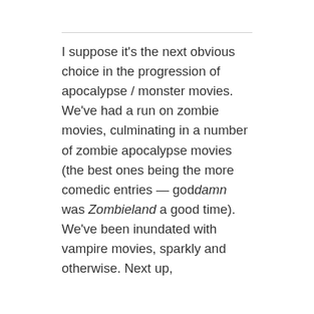I suppose it's the next obvious choice in the progression of apocalypse / monster movies. We've had a run on zombie movies, culminating in a number of zombie apocalypse movies (the best ones being the more comedic entries — goddamn was Zombieland a good time). We've been inundated with vampire movies, sparkly and otherwise. Next up,